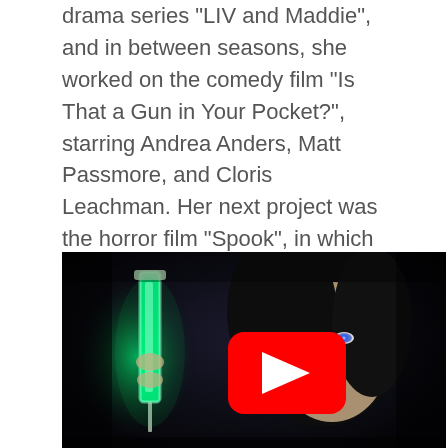drama series “LIV and Maddie”, and in between seasons, she worked on the comedy film “Is That a Gun in Your Pocket?”, starring Andrea Anders, Matt Passmore, and Cloris Leachman. Her next project was the horror film “Spook”, in which she co-starred next to Torrey Drake and Ryan Pinkston.
[Figure (photo): A dark cinematic still showing a young woman with dark hair and glowing blue eyes holding a glowing green object (appears to be a syringe/vial) in the dark. A YouTube play button overlay is centered on the image, indicating an embedded video.]